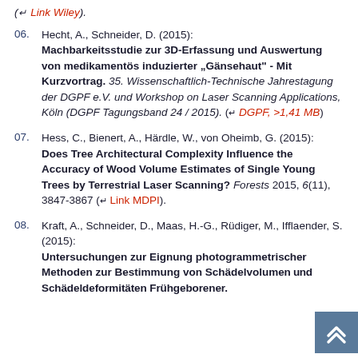(← Link Wiley).
06. Hecht, A., Schneider, D. (2015): Machbarkeitsstudie zur 3D-Erfassung und Auswertung von medikamentös induzierter „Gänsehaut" - Mit Kurzvortrag. 35. Wissenschaftlich-Technische Jahrestagung der DGPF e.V. und Workshop on Laser Scanning Applications, Köln (DGPF Tagungsband 24 / 2015). (← DGPF, >1,41 MB)
07. Hess, C., Bienert, A., Härdle, W., von Oheimb, G. (2015): Does Tree Architectural Complexity Influence the Accuracy of Wood Volume Estimates of Single Young Trees by Terrestrial Laser Scanning? Forests 2015, 6(11), 3847-3867 (← Link MDPI).
08. Kraft, A., Schneider, D., Maas, H.-G., Rüdiger, M., Ifflaender, S. (2015): Untersuchungen zur Eignung photogrammetrischer Methoden zur Bestimmung von Schädelvolumen und Schädeldeformitäten Frühgeborener.